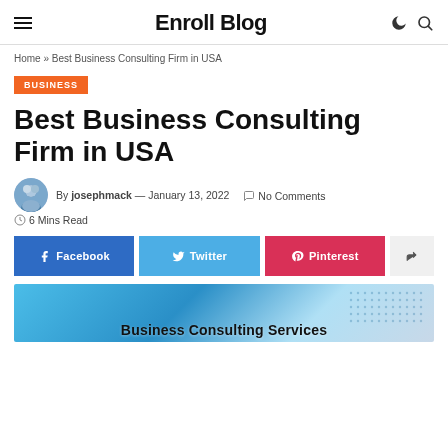Enroll Blog
Home » Best Business Consulting Firm in USA
BUSINESS
Best Business Consulting Firm in USA
By josephmack — January 13, 2022  No Comments
6 Mins Read
Facebook  Twitter  Pinterest
[Figure (photo): Business Consulting Services banner image with world map dot pattern on blue gradient background]